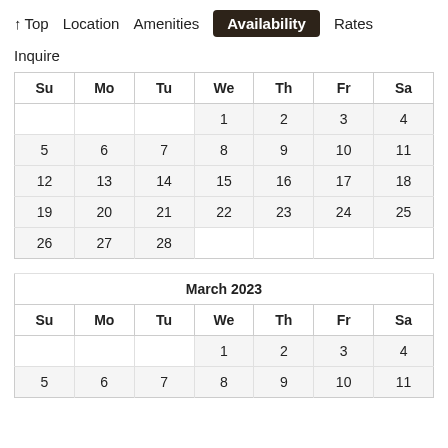↑ Top  Location  Amenities  Availability  Rates
Inquire
| Su | Mo | Tu | We | Th | Fr | Sa |
| --- | --- | --- | --- | --- | --- | --- |
|  |  |  | 1 | 2 | 3 | 4 |
| 5 | 6 | 7 | 8 | 9 | 10 | 11 |
| 12 | 13 | 14 | 15 | 16 | 17 | 18 |
| 19 | 20 | 21 | 22 | 23 | 24 | 25 |
| 26 | 27 | 28 |  |  |  |  |
| Su | Mo | Tu | We | Th | Fr | Sa |
| --- | --- | --- | --- | --- | --- | --- |
|  |  |  | 1 | 2 | 3 | 4 |
| 5 | 6 | 7 | 8 | 9 | 10 | 11 |